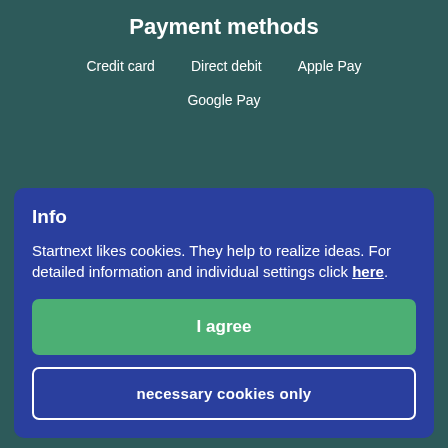Payment methods
Credit card
Direct debit
Apple Pay
Google Pay
Info
Startnext likes cookies. They help to realize ideas. For detailed information and individual settings click here.
I agree
necessary cookies only